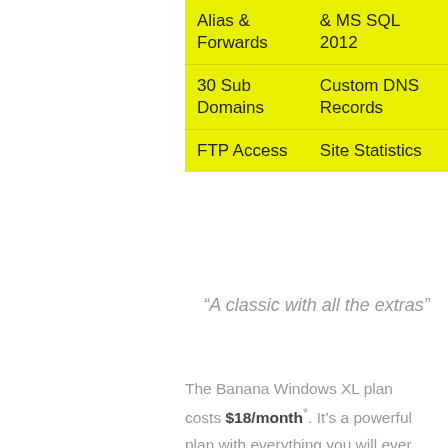| Alias & Forwards | & MS SQL 2012 |
| 30 Sub Domains | Custom DNS Records |
| FTP Access | Site Statistics |
“A classic with all the extras”
The Banana Windows XL plan costs $18/month*. It’s a powerful plan with everything you will ever need and now supports 10 domain names and unlimited mysql & mssql databases.